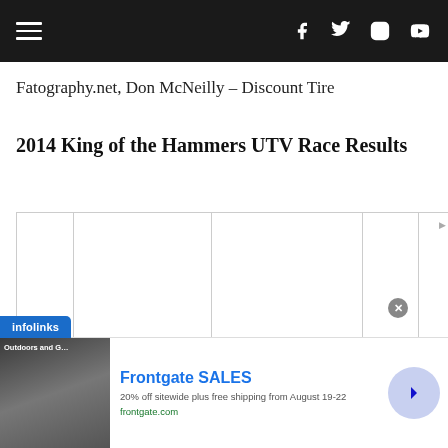Navigation bar with hamburger menu and social icons (Facebook, Twitter, Instagram, YouTube)
Fatography.net, Don McNeilly – Discount Tire
2014 King of the Hammers UTV Race Results
[Figure (other): Advertisement banner: Frontgate SALES – 20% off sitewide plus free shipping from August 19-22, frontgate.com]